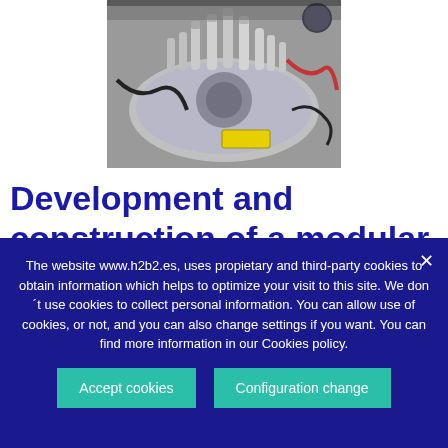[Figure (photo): Close-up photo of industrial hydrogen refueling station components — metallic fittings, valves and connectors on a circular flange, with cables and yellow warning labels visible.]
Development and construction of a modular Hydrogen Refueling Station for vans and
The website www.h2b2.es, uses propietary and third-party cookies to obtain information which helps to optimize your visit to this site. We don´t use cookies to collect personal information. You can allow use of cookies, or not, and you can also change settings if you want. You can find more information in our Cookies policy.